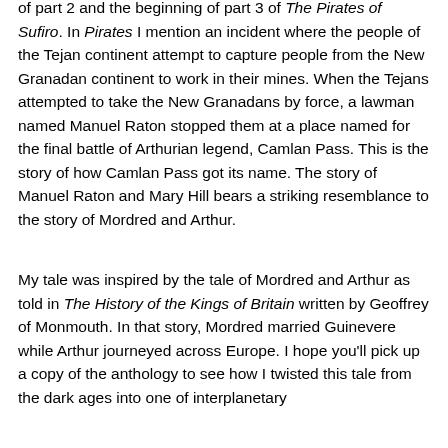of part 2 and the beginning of part 3 of The Pirates of Sufiro. In Pirates I mention an incident where the people of the Tejan continent attempt to capture people from the New Granadan continent to work in their mines. When the Tejans attempted to take the New Granadans by force, a lawman named Manuel Raton stopped them at a place named for the final battle of Arthurian legend, Camlan Pass. This is the story of how Camlan Pass got its name. The story of Manuel Raton and Mary Hill bears a striking resemblance to the story of Mordred and Arthur.
My tale was inspired by the tale of Mordred and Arthur as told in The History of the Kings of Britain written by Geoffrey of Monmouth. In that story, Mordred married Guinevere while Arthur journeyed across Europe. I hope you'll pick up a copy of the anthology to see how I twisted this tale from the dark ages into one of interplanetary